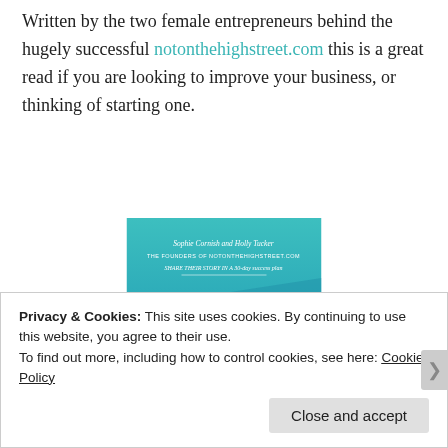Written by the two female entrepreneurs behind the hugely successful notonthehighstreet.com this is a great read if you are looking to improve your business, or thinking of starting one.
[Figure (photo): Book cover of 'Shape Up Your Business' by Sophie Cornish and Holly Tucker, founders of notonthehighstreet.com. Teal/blue gradient background with white text.]
Privacy & Cookies: This site uses cookies. By continuing to use this website, you agree to their use.
To find out more, including how to control cookies, see here: Cookie Policy